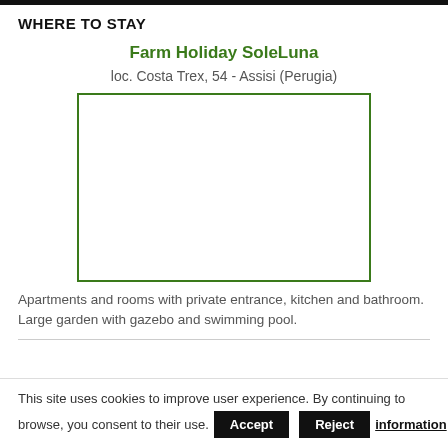WHERE TO STAY
Farm Holiday SoleLuna
loc. Costa Trex, 54 - Assisi (Perugia)
[Figure (photo): Empty bordered green rectangle placeholder for a property photo]
Apartments and rooms with private entrance, kitchen and bathroom. Large garden with gazebo and swimming pool.
This site uses cookies to improve user experience. By continuing to browse, you consent to their use. Accept Reject information